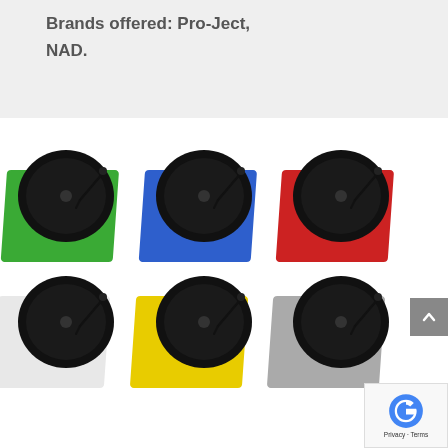Brands offered:  Pro-Ject, NAD.
[Figure (photo): Six colorful turntables arranged in two rows of three. Top row: green, blue, and red. Bottom row: white, yellow, and gray. Each turntable has a black platter and tonearm.]